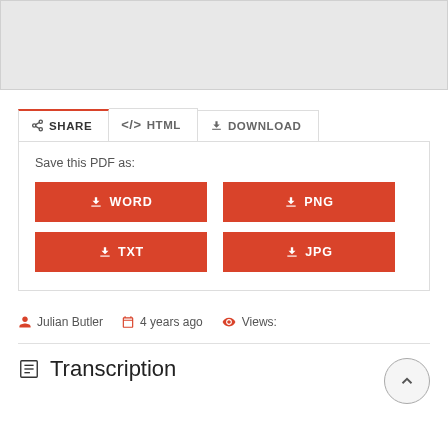[Figure (screenshot): Gray placeholder box at top of page representing a document preview area]
SHARE  </> HTML  ⬇ DOWNLOAD
Save this PDF as:
⬇ WORD
⬇ PNG
⬇ TXT
⬇ JPG
Julian Butler   4 years ago   Views:
Transcription